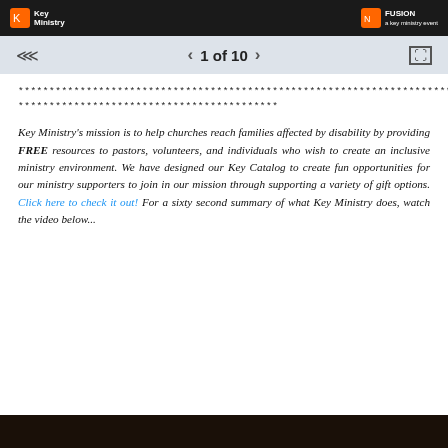Key Ministry | FUSION a key ministry event
1 of 10
********************************************************************************************
******************************************
Key Ministry's mission is to help churches reach families affected by disability by providing FREE resources to pastors, volunteers, and individuals who wish to create an inclusive ministry environment. We have designed our Key Catalog to create fun opportunities for our ministry supporters to join in our mission through supporting a variety of gift options. Click here to check it out! For a sixty second summary of what Key Ministry does, watch the video below...
[Figure (photo): Dark image strip at bottom of page, appears to be start of a video thumbnail]